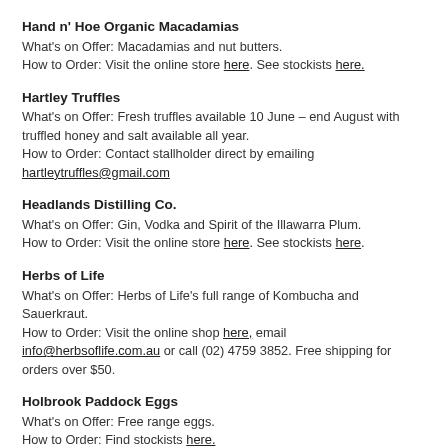Hand n' Hoe Organic Macadamias
What's on Offer: Macadamias and nut butters.
How to Order: Visit the online store here. See stockists here.
Hartley Truffles
What's on Offer: Fresh truffles available 10 June – end August with truffled honey and salt available all year.
How to Order: Contact stallholder direct by emailing hartleytruffles@gmail.com
Headlands Distilling Co.
What's on Offer: Gin, Vodka and Spirit of the Illawarra Plum.
How to Order: Visit the online store here. See stockists here.
Herbs of Life
What's on Offer: Herbs of Life's full range of Kombucha and Sauerkraut.
How to Order: Visit the online shop here, email info@herbsoflife.com.au or call (02) 4759 3852. Free shipping for orders over $50.
Holbrook Paddock Eggs
What's on Offer: Free range eggs.
How to Order: Find stockists here.